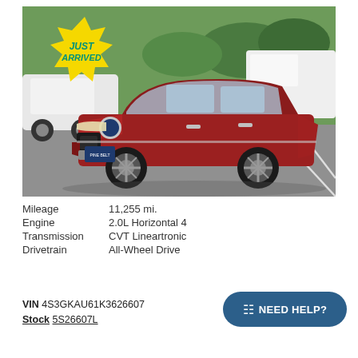[Figure (photo): Red Subaru Impreza sedan parked in a lot, front three-quarter view. A yellow starburst badge in the top-left corner reads 'JUST ARRIVED' in teal/green bold italic text. The car has a Pine Belt dealer plate.]
Mileage	11,255 mi.
Engine	2.0L Horizontal 4
Transmission	CVT Lineartronic
Drivetrain	All-Wheel Drive
VIN 4S3GKAU61K3626607
Stock 5S26607L